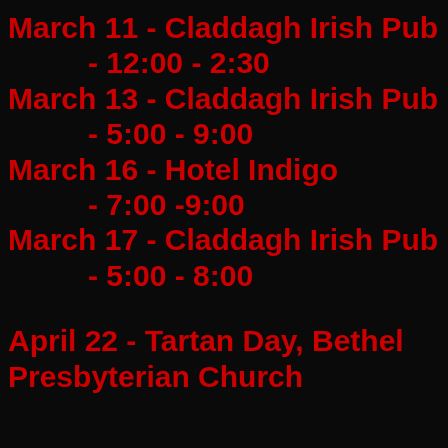March 11 - Claddagh Irish Pub
- 12:00 - 2:30
March 13 - Claddagh Irish Pub
- 5:00 - 9:00
March 16 - Hotel Indigo
- 7:00 -9:00
March 17 - Claddagh Irish Pub
- 5:00 - 8:00
April 22 - Tartan Day, Bethel Presbyterian Church